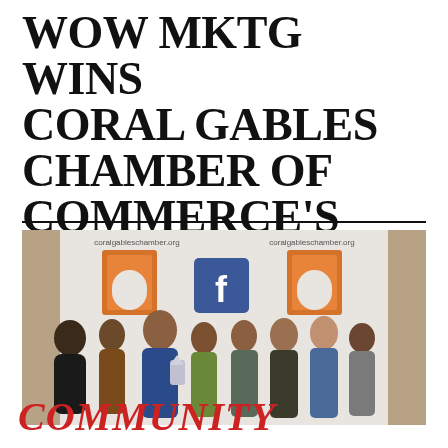WOW MKTG WINS CORAL GABLES CHAMBER OF COMMERCE'S DIAMOND AWARDS
[Figure (photo): Group photo of approximately 8 people standing in front of a Coral Gables Chamber of Commerce step-and-repeat banner backdrop at an awards event. The banner shows 'coralgableschamber.org' text and orange arch logos. The group includes men and women dressed in business casual attire.]
COMMUNITY